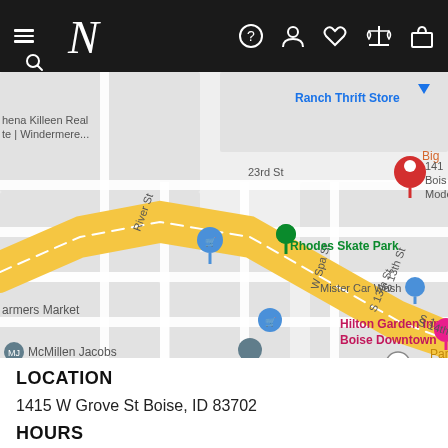N (Nordstrom navigation bar with menu, search, help, account, wishlist, compare, cart icons)
[Figure (map): Google Maps screenshot showing area around 1415 W Grove St, Boise, ID 83702. Visible landmarks include Ranch Thrift Store, Rhodes Skate Park, Mister Car Wash, Hilton Garden Inn Boise Downtown, River of Life Men's Shelter, Farmers Market, McMillen Jacobs. Streets visible: 23rd St, S 15th St, River St, W Spa St, S 14th St, S 13th St. Yellow highway lines run diagonally across the map.]
LOCATION
1415 W Grove St Boise, ID 83702
HOURS